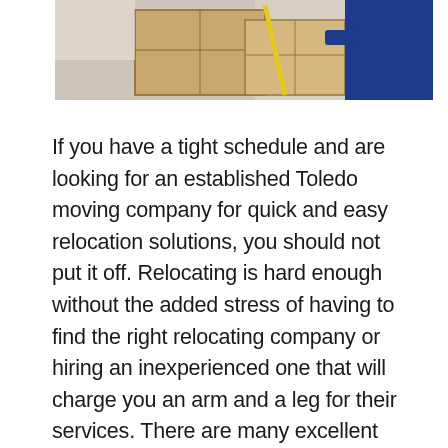[Figure (photo): A mover carrying large cardboard boxes, wearing a dark blue uniform, with light background suggesting an interior moving scene.]
If you have a tight schedule and are looking for an established Toledo moving company for quick and easy relocation solutions, you should not put it off. Relocating is hard enough without the added stress of having to find the right relocating company or hiring an inexperienced one that will charge you an arm and a leg for their services. There are many excellent relocation companies in Toledo that provide top-notch services. Toledo moving companies offer a variety of services that will make moving easier for you.